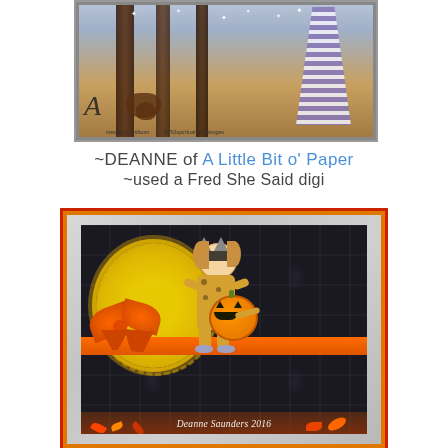[Figure (illustration): Illustrated Halloween/folk art themed card showing a witch or fancy-dressed figure in striped purple and white gown with cats and decorative elements, letter A visible, small caption text at bottom]
~DEANNE of A Little Bit o' Paper ~used a Fred She Said digi
[Figure (photo): Photo of a handmade Halloween greeting card with yellow background, damask black and white patterned paper, yellow crocheted doily, orange satin ribbon and bow, a die-cut cat girl figure holding a jack-o-lantern pumpkin, with 'Deanne Saunders 2016' watermark at bottom]